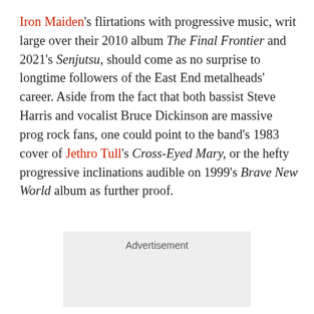Iron Maiden's flirtations with progressive music, writ large over their 2010 album The Final Frontier and 2021's Senjutsu, should come as no surprise to longtime followers of the East End metalheads' career. Aside from the fact that both bassist Steve Harris and vocalist Bruce Dickinson are massive prog rock fans, one could point to the band's 1983 cover of Jethro Tull's Cross-Eyed Mary, or the hefty progressive inclinations audible on 1999's Brave New World album as further proof.
[Figure (other): Advertisement placeholder box with grey background and 'Advertisement' label text]